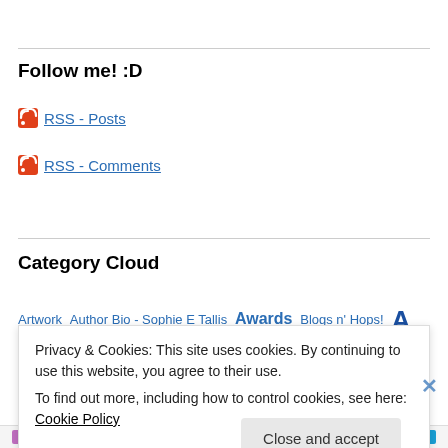Follow me! :D
RSS - Posts
RSS - Comments
Category Cloud
Artwork  Author Bio - Sophie E Tallis  Awards  Blogs n' Hops!  A
Privacy & Cookies: This site uses cookies. By continuing to use this website, you agree to their use.
To find out more, including how to control cookies, see here: Cookie Policy
Close and accept